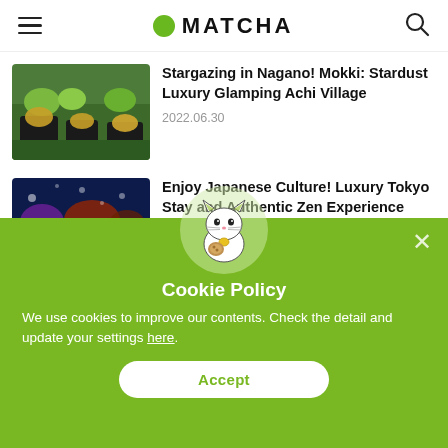MATCHA
Stargazing in Nagano! Mokki: Stardust Luxury Glamping Achi Village
2022.06.30
Enjoy Japanese Culture! Luxury Tokyo Stay and Authentic Zen Experience
Cookie Policy
We use cookies to improve our contents. Check the detail and update your settings here.
Accept